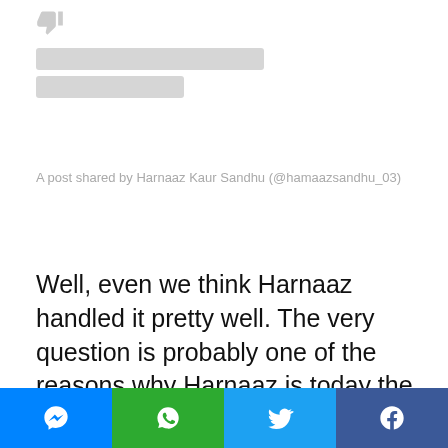[Figure (screenshot): Partial Instagram post embed with thumbs-down icon placeholder, two grey skeleton loading bars, and caption text 'A post shared by Harnaaz Kaur Sandhu (@hamaazsandhu_03)']
A post shared by Harnaaz Kaur Sandhu (@hamaazsandhu_03)
Well, even we think Harnaaz handled it pretty well. The very question is probably one of the reasons why Harnaaz is today the proud owner of the crown.
Social share bar with Messenger, WhatsApp, Twitter, Facebook buttons